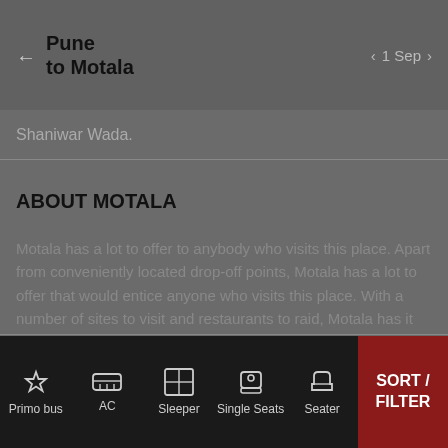Pune to Motala — 1 Sep
Shaniwar Wada.
ABOUT MOTALA
Motala has a lot to offer to anybody who visits this place. Apart from conveniently located drop-off points, Motala has a lot to offer that would entice anyone who visits this place. With a number of sites to visit and restaurants to raid, Motala has it all. There are a ton of buses that run through Motala and this ensures that Motala is well-connected to the rest of the country. Don't think twice, book your bus ticket online today
Primo bus | AC | Sleeper | Single Seats | Seater | SORT / FILTER